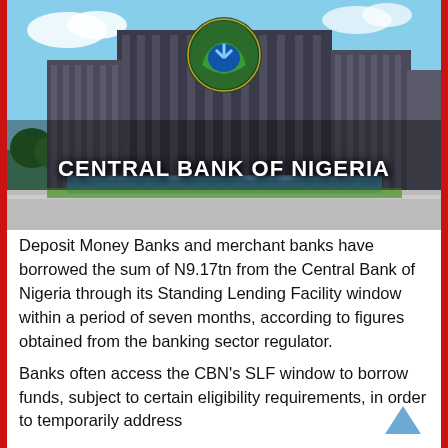[Figure (photo): Photo of the Central Bank of Nigeria headquarters building with the CBN logo (green crest with hands) visible above the text 'CENTRAL BANK OF NIGERIA' overlaid on the image.]
Deposit Money Banks and merchant banks have borrowed the sum of N9.17tn from the Central Bank of Nigeria through its Standing Lending Facility window within a period of seven months, according to figures obtained from the banking sector regulator.
Banks often access the CBN's SLF window to borrow funds, subject to certain eligibility requirements, in order to temporarily address